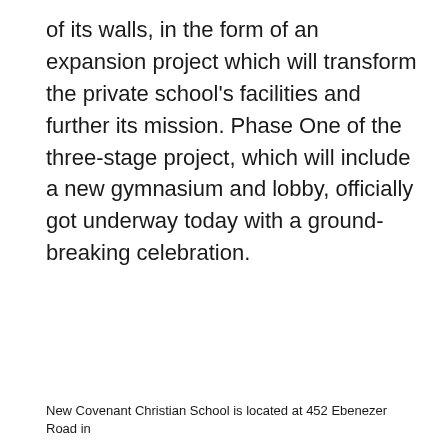of its walls, in the form of an expansion project which will transform the private school's facilities and further its mission. Phase One of the three-stage project, which will include a new gymnasium and lobby, officially got underway today with a ground-breaking celebration.
New Covenant Christian School is located at 452 Ebenezer Road in